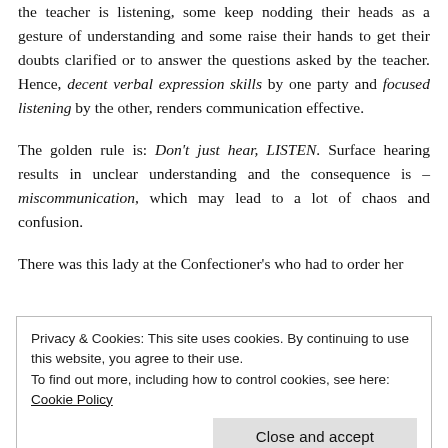the teacher is listening, some keep nodding their heads as a gesture of understanding and some raise their hands to get their doubts clarified or to answer the questions asked by the teacher. Hence, decent verbal expression skills by one party and focused listening by the other, renders communication effective.
The golden rule is: Don't just hear, LISTEN. Surface hearing results in unclear understanding and the consequence is – miscommunication, which may lead to a lot of chaos and confusion.
There was this lady at the Confectioner's who had to order her
Privacy & Cookies: This site uses cookies. By continuing to use this website, you agree to their use. To find out more, including how to control cookies, see here: Cookie Policy
Close and accept
closed for the day. The doorbell rang in 45 minutes and there